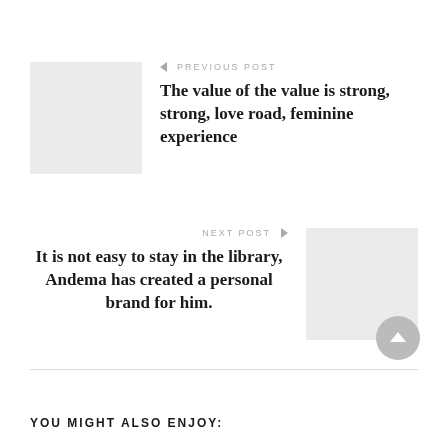[Figure (other): Light gray thumbnail image placeholder for previous post]
← PREVIOUS POST
The value of the value is strong, strong, love road, feminine experience
NEXT POST →
It is not easy to stay in the library, Andema has created a personal brand for him.
[Figure (other): Light gray thumbnail image placeholder for next post]
[Figure (other): Scroll-to-top circular button with upward arrow]
YOU MIGHT ALSO ENJOY: